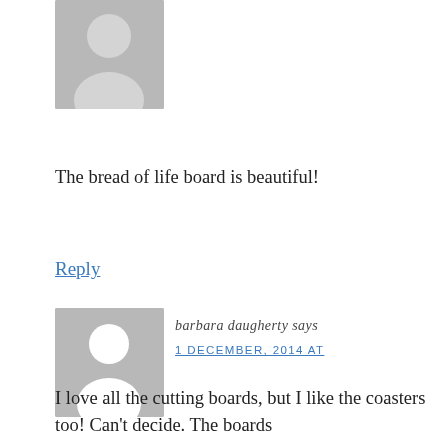[Figure (illustration): Generic user avatar placeholder — grey rounded rectangle with no profile image, top portion visible]
The bread of life board is beautiful!
Reply
[Figure (illustration): Generic user avatar placeholder — grey square with white silhouette of person (circle head, rounded shoulders)]
barbara daugherty says
1 DECEMBER, 2014 AT
I love all the cutting boards, but I like the coasters too! Can't decide. The boards